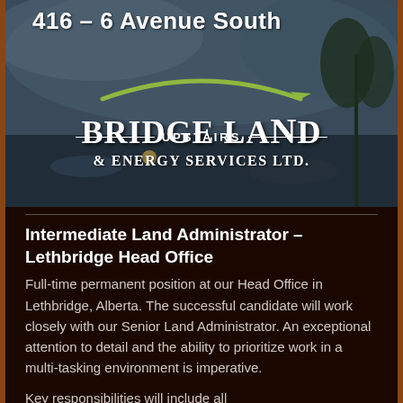[Figure (photo): Photograph of Bridgeland & Energy Services Ltd. office window sign showing address 416 – 6 Avenue South and company logo with green arrow, white lettering on dark background, with UPSTAIRS text below]
Intermediate Land Administrator - Lethbridge Head Office
Full-time permanent position at our Head Office in Lethbridge, Alberta. The successful candidate will work closely with our Senior Land Administrator. An exceptional attention to detail and the ability to prioritize work in a multi-tasking environment is imperative.
Key responsibilities will include all